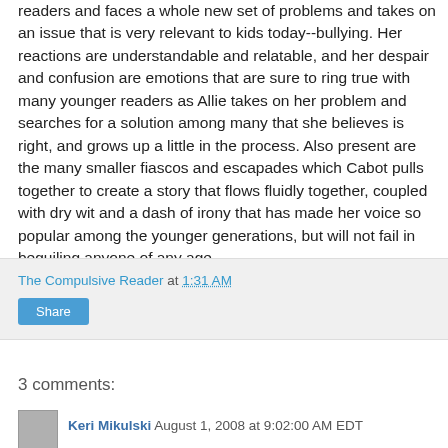readers and faces a whole new set of problems and takes on an issue that is very relevant to kids today--bullying. Her reactions are understandable and relatable, and her despair and confusion are emotions that are sure to ring true with many younger readers as Allie takes on her problem and searches for a solution among many that she believes is right, and grows up a little in the process. Also present are the many smaller fiascos and escapades which Cabot pulls together to create a story that flows fluidly together, coupled with dry wit and a dash of irony that has made her voice so popular among the younger generations, but will not fail in beguiling anyone of any age.
The Compulsive Reader at 1:31 AM
Share
3 comments:
Keri Mikulski August 1, 2008 at 9:02:00 AM EDT